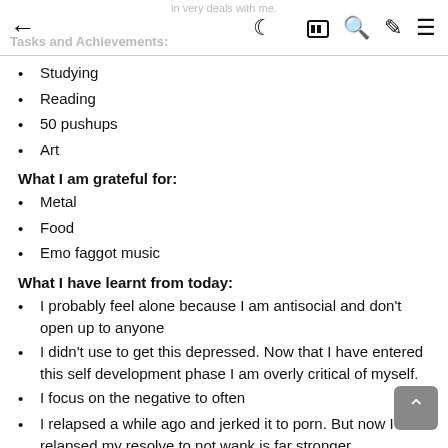in very deals with me. Tasks and Achievements: ← 🌙 ▦ 🔍 🖌 ≡
Studying
Reading
50 pushups
Art
What I am grateful for:
Metal
Food
Emo faggot music
What I have learnt from today:
I probably feel alone because I am antisocial and don't open up to anyone
I didn't use to get this depressed. Now that I have entered this self development phase I am overly critical of myself.
I focus on the negative to often
I relapsed a while ago and jerked it to porn. But now I have relapsed my resolve to not wank is far stronger.